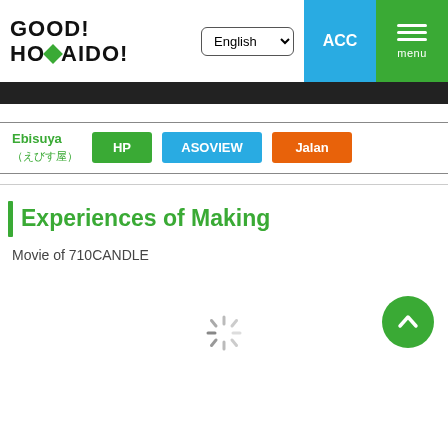GOOD! HOKKAIDO!
[Figure (screenshot): Navigation bar with English language dropdown, ACC button in blue, and menu button in green]
[Figure (photo): Dark image strip at top of content area]
Ebisuya (えびす屋)
HP | ASOVIEW | Jalan
Experiences of Making
Movie of 710CANDLE
[Figure (other): Loading spinner at bottom of page]